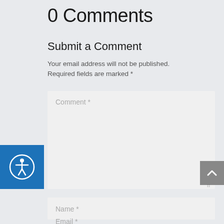0 Comments
Submit a Comment
Your email address will not be published. Required fields are marked *
[Figure (illustration): Accessibility icon button - blue square with white person/accessibility symbol inside a circle]
Comment *
Name *
Email *